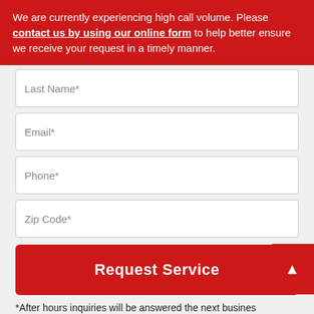We are currently experiencing high call volume. Please contact us by using our online form to help better ensure we receive your request in a timely manner.
Last Name*
Email*
Phone*
Zip Code*
Request Service
*After hours inquiries will be answered the next busines
Trusted provider of pest control